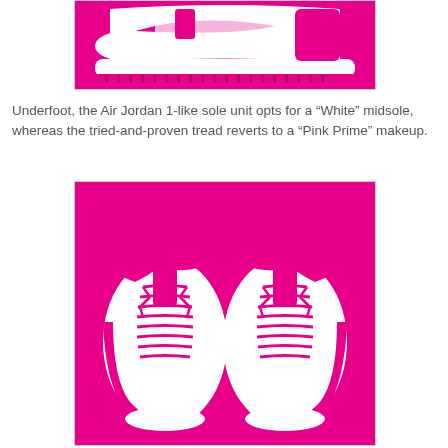[Figure (photo): Nike Dunk High sneaker in white and pink prime colorway, side/bottom view showing the sole unit on a pink background]
Underfoot, the Air Jordan 1-like sole unit opts for a “White” midsole, whereas the tried-and-proven tread reverts to a “Pink Prime” makeup.
[Figure (photo): Top-down view of two Nike Dunk High sneakers in white and pink prime colorway, showing laces and tongue detail with Nike branding on a hot pink background]